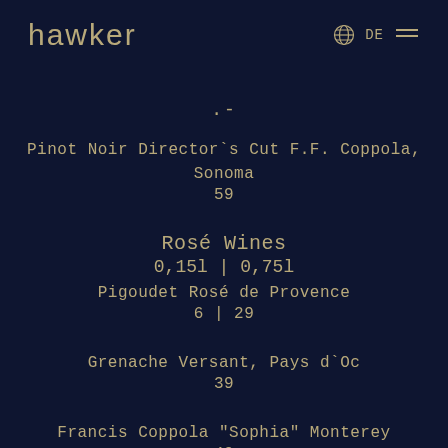hawker
.-
Pinot Noir Director`s Cut F.F. Coppola, Sonoma
59
Rosé Wines
0,15l | 0,75l
Pigoudet Rosé de Provence
6 | 29
Grenache Versant, Pays d`Oc
39
Francis Coppola "Sophia" Monterey
49